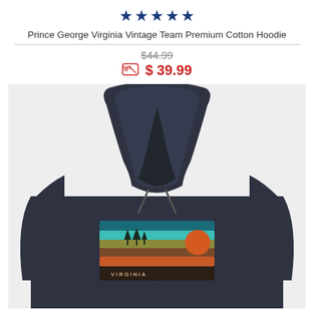[Figure (other): Five filled dark navy/blue stars rating display]
Prince George Virginia Vintage Team Premium Cotton Hoodie
$44.99 (strikethrough original price)
SALE $ 39.99 (sale price in red with sale tag icon)
[Figure (photo): Dark navy hoodie shown from the back, featuring a vintage-style graphic with colorful horizontal stripes (teal, aqua, olive, brown, orange) and a circular sun motif, with VIRGINIA text at the bottom of the graphic.]